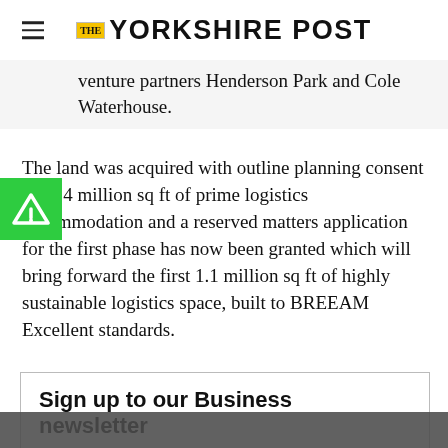THE YORKSHIRE POST
venture partners Henderson Park and Cole Waterhouse.
The land was acquired with outline planning consent for 1.4 million sq ft of prime logistics accommodation and a reserved matters application for the first phase has now been granted which will bring forward the first 1.1 million sq ft of highly sustainable logistics space, built to BREEAM Excellent standards.
Sign up to our Business newsletter